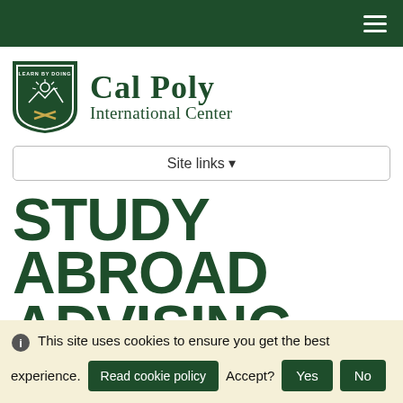Cal Poly International Center
Site links
STUDY ABROAD ADVISING
IN PERSON & VIRTUAL DROP-IN
This site uses cookies to ensure you get the best experience. Accept?